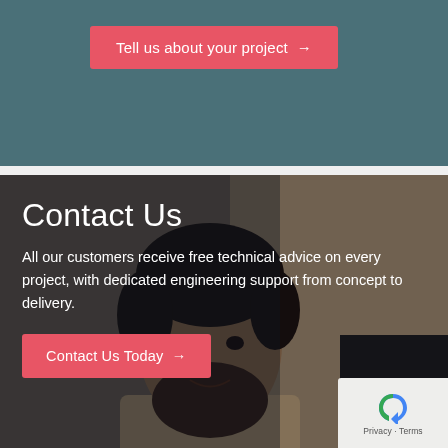[Figure (screenshot): Top teal/dark cyan banner section with a pink 'Tell us about your project →' button]
Tell us about your project →
[Figure (photo): Background photo of a bearded man at a computer workstation, with a dark overlay. Contains 'Contact Us' heading, descriptive text, and a 'Contact Us Today →' button. Bottom-right shows a Google reCAPTCHA widget with Privacy and Terms links.]
Contact Us
All our customers receive free technical advice on every project, with dedicated engineering support from concept to delivery.
Contact Us Today →
Privacy · Terms